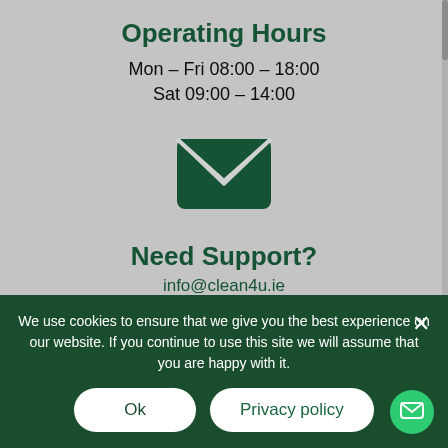Operating Hours
Mon – Fri 08:00 – 18:00
Sat 09:00 – 14:00
[Figure (illustration): Dark green envelope icon]
Need Support?
info@clean4u.ie
We use cookies to ensure that we give you the best experience on our website. If you continue to use this site we will assume that you are happy with it.
Our Cleaning Services
Domestic